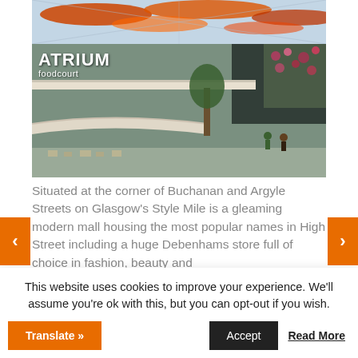[Figure (photo): Interior of the Atrium Foodcourt at Buchanan Galleries shopping centre in Glasgow, showing multiple levels, glass ceiling with colourful canopies, trees and diners.]
Situated at the corner of Buchanan and Argyle Streets on Glasgow's Style Mile is a gleaming modern mall housing the most popular names in High Street including a huge Debenhams store full of choice in fashion, beauty and
This website uses cookies to improve your experience. We'll assume you're ok with this, but you can opt-out if you wish.
Accept
Read More
Translate »